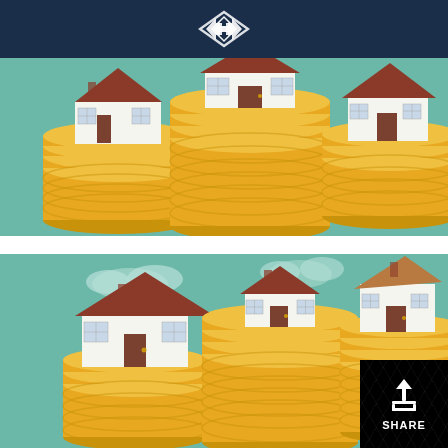Logo/brand header with diamond-shaped icon
[Figure (illustration): Illustration of three stacks of gold coins of varying heights with small white houses sitting on top of each stack, against a teal background — representing real estate investment or property value]
[Figure (illustration): Second illustration of three stacks of gold coins of varying heights with small white houses on top, similar scene with clouds visible in the teal background — representing real estate investment or property value. A black share badge with upload icon and SHARE text overlays the bottom-right corner.]